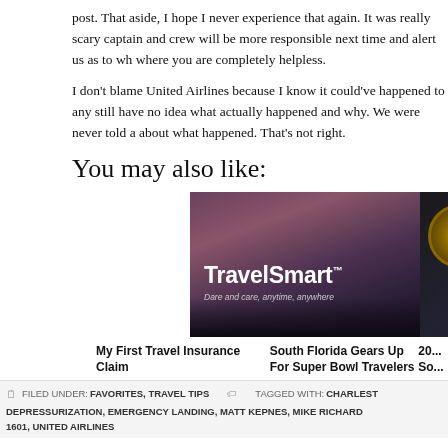post. That aside, I hope I never experience that again. It was really scary captain and crew will be more responsible next time and alert us as to wh where you are completely helpless.
I don't blame United Airlines because I know it could've happened to any still have no idea what actually happened and why. We were never told a about what happened. That's not right.
You may also like:
[Figure (photo): TravelSmart promotional image with text 'TravelSmart™ Dare and care, anytime, anywhere' over a dark scenic background]
[Figure (photo): Super Bowl promotional image with SF 49ers and Tampa Bay Buccaneers logos, text 'SUPERBOWL LIV']
My First Travel Insurance Claim
South Florida Gears Up For Super Bowl Travelers
20... So...
FILED UNDER: FAVORITES, TRAVEL TIPS   TAGGED WITH: CHARLEST DEPRESSURIZATION, EMERGENCY LANDING, MATT KEPNES, MIKE RICHARD 1601, UNITED AIRLINES